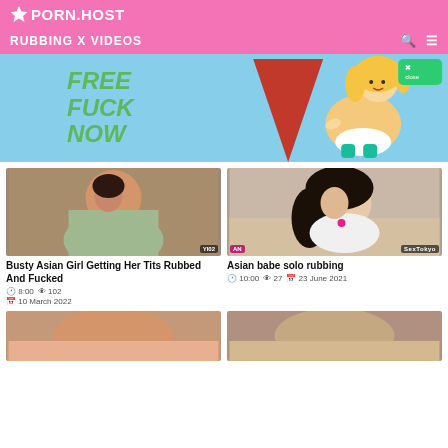PORN.HOST
RUBBING X VIDEOS
[Figure (illustration): Advertisement banner with 'FREE FUCK NOW' text in green on blue background with cartoon illustration]
[Figure (photo): Thumbnail: Busty Asian Girl Getting Her Tits Rubbed And Fucked]
Busty Asian Girl Getting Her Tits Rubbed And Fucked
8:00  102  10 March 2022
[Figure (photo): Thumbnail: Asian babe solo rubbing - SexTokyo]
Asian babe solo rubbing
10:00  27  23 June 2021
[Figure (photo): Bottom left video thumbnail (partially visible)]
[Figure (photo): Bottom right video thumbnail (partially visible)]